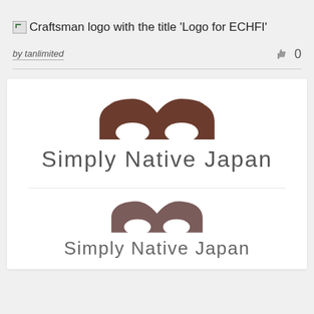Craftsman logo with the title 'Logo for ECHFI'
by tanlimited   👍 0
[Figure (logo): Simply Native Japan logo - brown arch/bridge shape above text 'Simply Native Japan' (large version)]
[Figure (logo): Simply Native Japan logo - brown arch/bridge shape above text 'Simply Native Japan' (smaller version)]